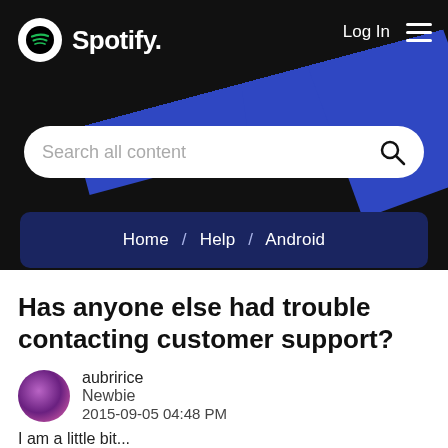[Figure (screenshot): Spotify community help page header with logo, navigation, search bar, and breadcrumb navigation showing Home / Help / Android]
Has anyone else had trouble contacting customer support?
aubririce
Newbie
2015-09-05 04:48 PM
I am a little bit...